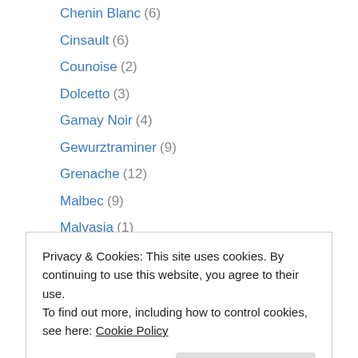Chenin Blanc (6)
Cinsault (6)
Counoise (2)
Dolcetto (3)
Gamay Noir (4)
Gewurztraminer (9)
Grenache (12)
Malbec (9)
Malvasia (1)
Marechal Foch (1)
Meritage (1)
Merlot (26)
Mourvedre (8)
Privacy & Cookies: This site uses cookies. By continuing to use this website, you agree to their use. To find out more, including how to control cookies, see here: Cookie Policy
Riesling (21)